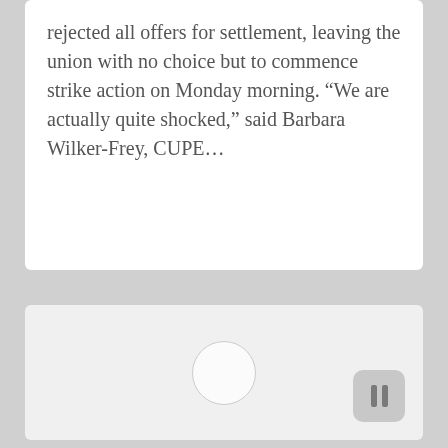rejected all offers for settlement, leaving the union with no choice but to commence strike action on Monday morning. “We are actually quite shocked,” said Barbara Wilker-Frey, CUPE…
[Figure (other): A light gray card/panel area containing a loading spinner circle in the center and a pause button in the bottom-right corner.]